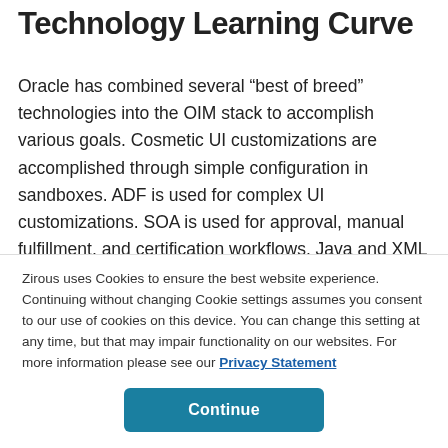Technology Learning Curve
Oracle has combined several “best of breed” technologies into the OIM stack to accomplish various goals. Cosmetic UI customizations are accomplished through simple configuration in sandboxes. ADF is used for complex UI customizations. SOA is used for approval, manual fulfillment, and certification workflows. Java and XML are used throughout the stack. And it all runs on a
Zirous uses Cookies to ensure the best website experience. Continuing without changing Cookie settings assumes you consent to our use of cookies on this device. You can change this setting at any time, but that may impair functionality on our websites. For more information please see our Privacy Statement
Continue